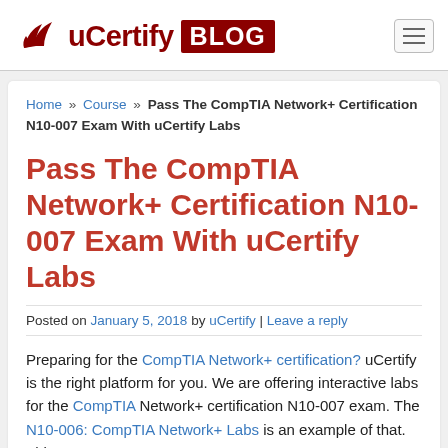[Figure (logo): uCertify Blog logo with red text and BLOG badge]
Home » Course » Pass The CompTIA Network+ Certification N10-007 Exam With uCertify Labs
Pass The CompTIA Network+ Certification N10-007 Exam With uCertify Labs
Posted on January 5, 2018 by uCertify | Leave a reply
Preparing for the CompTIA Network+ certification? uCertify is the right platform for you. We are offering interactive labs for the CompTIA Network+ certification N10-007 exam. The N10-006: CompTIA Network+ Labs is an example of that. This